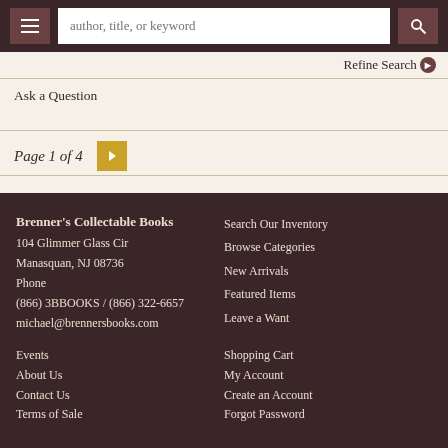author, title, or keyword
Refine Search
Ask a Question
Page 1 of 4
Brenner's Collectable Books
104 Glimmer Glass Cir
Manasquan, NJ 08736
Phone
(866) 3BBOOKS / (866) 322-6657
michael@brennersbooks.com
Search Our Inventory
Browse Categories
New Arrivals
Featured Items
Leave a Want
Events
About Us
Contact Us
Terms of Sale
Shopping Cart
My Account
Create an Account
Forgot Password